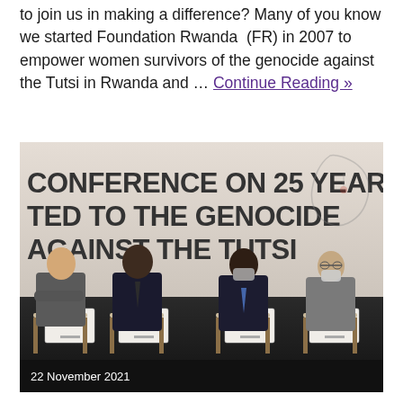to join us in making a difference? Many of you know we started Foundation Rwanda (FR) in 2007 to empower women survivors of the genocide against the Tutsi in Rwanda and … Continue Reading »
[Figure (photo): Photo of a conference panel with four men seated in chairs on a stage. Behind them is a banner reading 'CONFERENCE ON 25 YEARS [DEDICA]TED TO THE GENOCIDE AGAINST THE TUTSI'. A date caption '22 November 2021' appears at the bottom left of the image.]